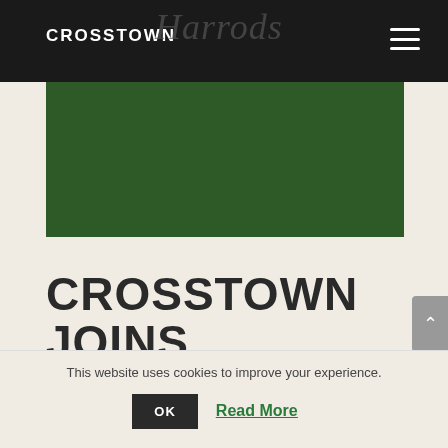CROSSTOWN  Harrods
[Figure (photo): Dark green rectangular image area representing a photo related to Crosstown joining Harrods' Food]
CROSSTOWN JOINS HARRODS' FOOD ...
This website uses cookies to improve your experience.
OK  Read More